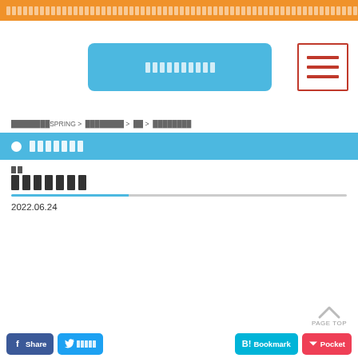████████████████████████████████████████████████████
[Figure (screenshot): Blue button and hamburger menu icon on white background]
████████SPRING > ████████ > ██ > ████████
● ████████
██
███████
2022.06.24
f Share  █████  B! Bookmark  Pocket  PAGE TOP